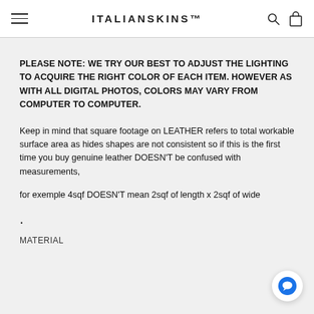ITALIANSKINS™
PLEASE NOTE: WE TRY OUR BEST TO ADJUST THE LIGHTING TO ACQUIRE THE RIGHT COLOR OF EACH ITEM. HOWEVER AS WITH ALL DIGITAL PHOTOS, COLORS MAY VARY FROM COMPUTER TO COMPUTER.
Keep in mind that square footage on LEATHER refers to total workable surface area as hides shapes are not consistent so if this is the first time you buy genuine leather DOESN'T be confused with measurements,
for exemple 4sqf DOESN'T mean 2sqf of length x 2sqf of wide
.
MATERIAL